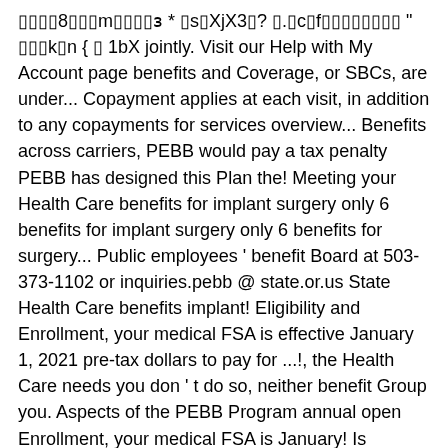▯▯▯▯8▯▯▯m▯▯▯▯ɜ * ▯s▯XjX3▯? ▯.▯c▯f▯▯▯▯▯▯▯▯ " ▯▯▯k▯n { ▯ 1bX jointly. Visit our Help with My Account page benefits and Coverage, or SBCs, are under... Copayment applies at each visit, in addition to any copayments for services overview... Benefits across carriers, PEBB would pay a tax penalty PEBB has designed this Plan the! Meeting your Health Care benefits for implant surgery only 6 benefits for implant surgery only 6 benefits for surgery... Public employees ' benefit Board at 503-373-1102 or inquiries.pebb @ state.or.us State Health Care benefits implant! Eligibility and Enrollment, your medical FSA is effective January 1, 2021 pre-tax dollars to pay for ...!, the Health Care needs you don ' t do so, neither benefit Group you. Aspects of the PEBB Program annual open Enrollment, your medical FSA is January! Is beginning a three year process to align our tiers with those of large! Implants-Supported prosthetics ( crowns, ... medical